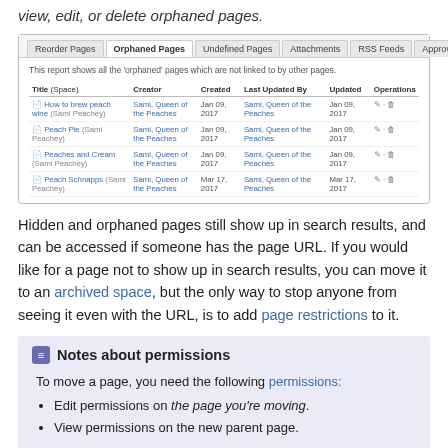view, edit, or delete orphaned pages.
[Figure (screenshot): Screenshot of Orphaned Pages report interface showing a table with columns Title (Space), Creator, Created, Last Updated By, Updated, Operations. Contains 4 rows: How to brew peach wine (Sami Peachey), Peach Pie (Sami Peachey), Peaches and Cream (Sami Peachey), Peach Schnapps (Sami Peachey) — all created/updated Jan 09, 2017 or Mar 17, 2017 by Sami, Queen of the Peaches.]
Hidden and orphaned pages still show up in search results, and can be accessed if someone has the page URL. If you would like for a page not to show up in search results, you can move it to an archived space, but the only way to stop anyone from seeing it even with the URL, is to add page restrictions to it.
Notes about permissions
To move a page, you need the following permissions:
Edit permissions on the page you're moving.
View permissions on the new parent page.